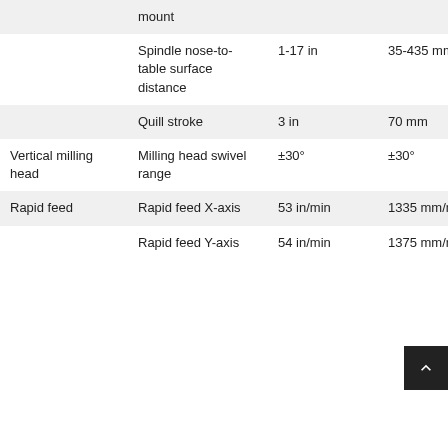|  |  | Imperial | Metric |
| --- | --- | --- | --- |
|  | mount |  |  |
|  | Spindle nose-to-table surface distance | 1-17 in | 35-435 mm |
|  | Quill stroke | 3 in | 70 mm |
| Vertical milling head | Milling head swivel range | ±30° | ±30° |
| Rapid feed | Rapid feed X-axis | 53 in/min | 1335 mm/min |
|  | Rapid feed Y-axis | 54 in/min | 1375 mm/min |